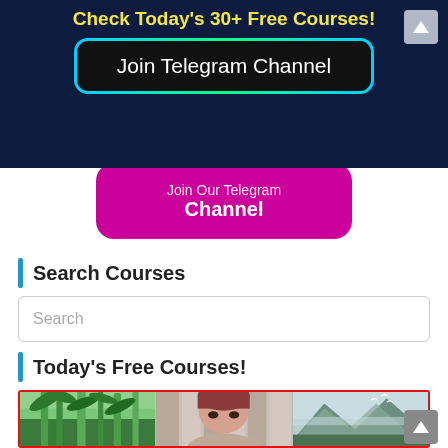Check Today's 30+ Free Courses!
[Figure (screenshot): Dark navy banner with yellow bold text 'Check Today's 30+ Free Courses!' and a black rounded button labeled 'Join Telegram Channel' with a glowing green/cyan border. A grey scroll-up arrow button is in the top right.]
[Figure (screenshot): Magenta/pink rounded button with text 'Join Our Telegram Channel' partially visible]
Search Courses
Search
Today's Free Courses!
[Figure (photo): Three-panel course image strip: left panel shows bamboo/green forest, center panel shows a woman with reddish-brown hair, right panel shows misty mountains with birds. Enclosed in red border.]